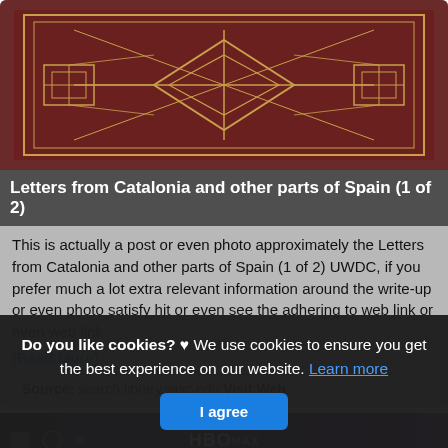[Figure (photo): Book cover with decorative gold geometric pattern on dark red/maroon background]
Letters from Catalonia and other parts of Spain (1 of 2)
This is actually a post or even photo approximately the Letters from Catalonia and other parts of Spain (1 of 2) UWDC, if you prefer much a lot extra relevant information around the write-up or even photo satisfy hit or even see the adhering to web link or even web link .
(Read More)
Source: search.library.wisc.edu Visit Web
[Figure (screenshot): HBO Max website navigation bar with dark background]
Do you like cookies? ♥ We use cookies to ensure you get the best experience on our website. Learn more
I agree